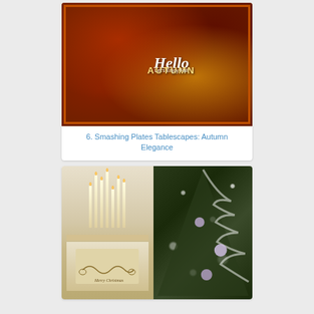[Figure (photo): Autumn tablescape collage with fall decorations, flowers, candles, dishes, and text overlay saying Hello Autumn Let's Enjoy Fall, framed with a decorative border]
6. Smashing Plates Tablescapes: Autumn Elegance
[Figure (photo): Christmas home decor scene with white painted dresser/mantle holding candelabras, framed signs, and ornaments on left, and a heavily snow-flocked Christmas tree with silver and purple ornaments on right]